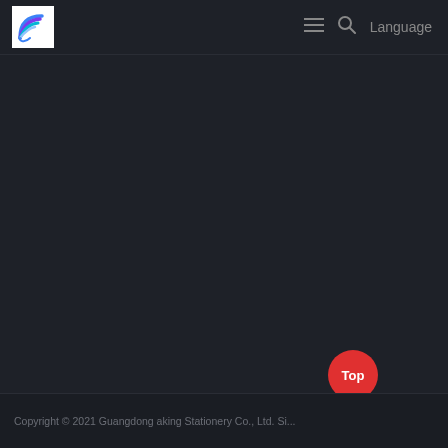[Figure (logo): Guangdong aking Stationery company logo: colorful wave/fan shape in blue, purple and teal on white background]
≡  🔍  Language
[Figure (screenshot): Dark background content area with faint barely-visible text/product content]
[Figure (other): Red circular 'Top' button and blue mail envelope button in bottom right corner]
Copyright © 2021 Guangdong aking Stationery Co., Ltd. Si...